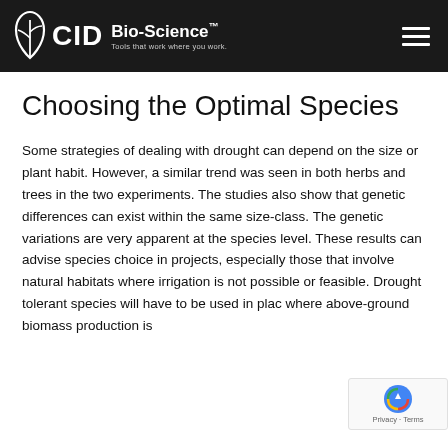CID Bio-Science. Tools that work where you work.
Choosing the Optimal Species
Some strategies of dealing with drought can depend on the size or plant habit. However, a similar trend was seen in both herbs and trees in the two experiments. The studies also show that genetic differences can exist within the same size-class. The genetic variations are very apparent at the species level. These results can advise species choice in projects, especially those that involve natural habitats where irrigation is not possible or feasible. Drought tolerant species will have to be used in place where above-ground biomass production is